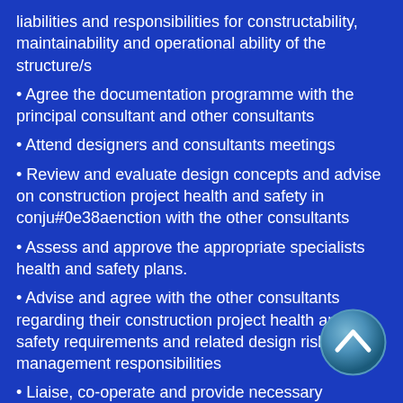liabilities and responsibilities for constructability, maintainability and operational ability of the structure/s
Agree the documentation programme with the principal consultant and other consultants
Attend designers and consultants meetings
Review and evaluate design concepts and advise on construction project health and safety in conju#0e38aenction with the other consultants
Assess and approve the appropriate specialists health and safety plans.
Advise and agree with the other consultants regarding their construction project health and safety requirements and related design risk management responsibilities
Liaise, co-operate and provide necessary information to the client/principal consultant and the other consultants
Assist the client and principal consultant in the